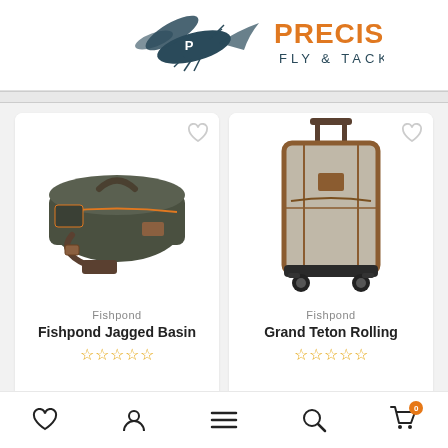[Figure (logo): Precision Fly & Tackle logo with fly fishing insect graphic on left and orange PRECISION text with FLY & TACKLE subtitle]
[Figure (photo): Fishpond Jagged Basin duffel bag in olive/dark green canvas with orange accents and shoulder strap]
Fishpond
Fishpond Jagged Basin
[Figure (photo): Grand Teton Rolling luggage bag in grey/tan with brown leather trim and retractable handle on wheels]
Fishpond
Grand Teton Rolling